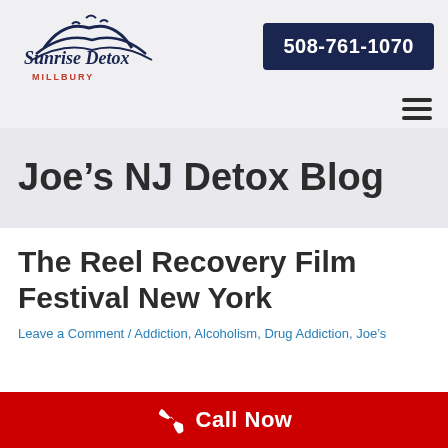[Figure (logo): Sunrise Detox Millbury logo with stylized sunrise/waves graphic above cursive text 'Sunrise Detox' and 'MILLBURY' in red capitals below]
508-761-1070
Joe's NJ Detox Blog
The Reel Recovery Film Festival New York
Leave a Comment / Addiction, Alcoholism, Drug Addiction, Joe's
Call Now